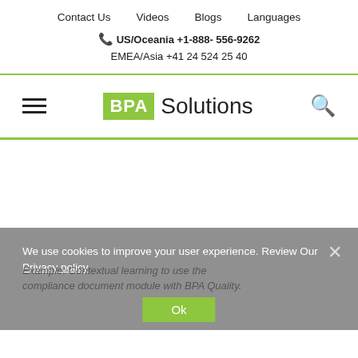Contact Us   Videos   Blogs   Languages
US/Oceania +1-888- 556-9262
EMEA/Asia +41 24 524 25 40
[Figure (logo): BPA Solutions logo with green BPA box and Solutions text, flanked by hamburger menu icon and search icon]
We use cookies to improve your user experience. Review Our Privacy policy
Example: Contextual learning to use the compliance document module with BPA Quality.